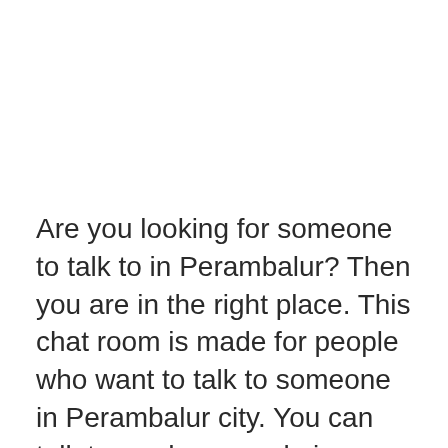Are you looking for someone to talk to in Perambalur? Then you are in the right place. This chat room is made for people who want to talk to someone in Perambalur city. You can talk to random people in Perambalur without any cost and without any registration.
We are human beings, that's why sometimes we need someone to talk to and sometimes we want to talk to someone in our city, Perambalur. We want to discuss school, studies, books,